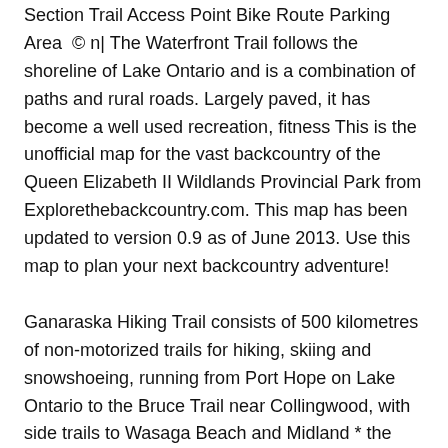Section Trail Access Point Bike Route Parking Area © n| The Waterfront Trail follows the shoreline of Lake Ontario and is a combination of paths and rural roads. Largely paved, it has become a well used recreation, fitness This is the unofficial map for the vast backcountry of the Queen Elizabeth II Wildlands Provincial Park from Explorethebackcountry.com. This map has been updated to version 0.9 as of June 2013. Use this map to plan your next backcountry adventure!
Ganaraska Hiking Trail consists of 500 kilometres of non-motorized trails for hiking, skiing and snowshoeing, running from Port Hope on Lake Ontario to the Bruce Trail near Collingwood, with side trails to Wasaga Beach and Midland * the trail is comprised of 9 sections (Barrie, Orillia, Midland, Wasaga, Oro-Medonte, Pine Ridge, Wilderness The Superior Hiking Trail Association publishes the official trail guidebook and a set of six trail maps. In Spring of 2020, SHTA will also